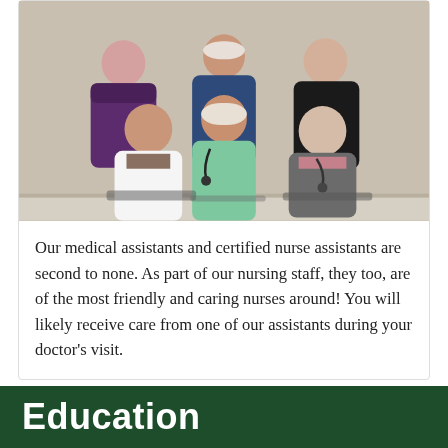[Figure (photo): Group photo of six female medical assistants and certified nurse assistants in scrubs and professional attire, posed together in two rows against a neutral beige background.]
Our medical assistants and certified nurse assistants are second to none. As part of our nursing staff, they too, are of the most friendly and caring nurses around! You will likely receive care from one of our assistants during your doctor's visit.
Education